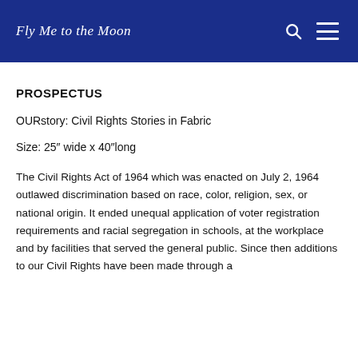Fly Me to the Moon
PROSPECTUS
OURstory: Civil Rights Stories in Fabric
Size: 25″ wide x 40″long
The Civil Rights Act of 1964 which was enacted on July 2, 1964 outlawed discrimination based on race, color, religion, sex, or national origin. It ended unequal application of voter registration requirements and racial segregation in schools, at the workplace and by facilities that served the general public. Since then additions to our Civil Rights have been made through a